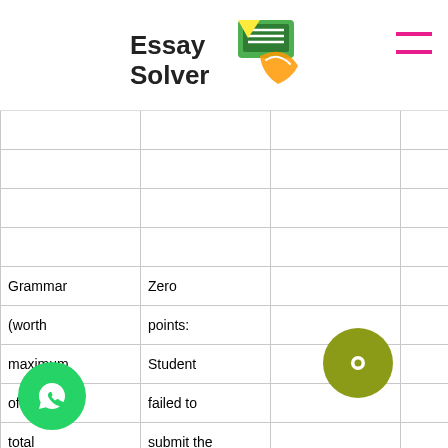Essay Solver
|  |  |  |  | communicate ideas/points clearly due to inappropriate use of terminology and vague language; thoughts and sentences are disjointed or incomprehensible; organization lacking and/or numerous |  |
| --- | --- | --- | --- | --- | --- |
|  |  |  |  | communicate |  |
|  |  |  |  | ideas/points clearly |  |
|  |  |  |  | due to |  |
|  |  |  |  | inappropriate use |  |
| Grammar (worth maximum of 20% of total points) | Zero points: Student failed to submit the final paper. | terminology and |  |
|  |  |  |  | vague language; |  |
|  |  |  |  | thoughts and |  |
|  |  |  |  | sentences are |  |
|  |  |  |  | disjointed or |  |
|  |  |  |  | incomprehensible; |  |
|  |  |  |  | organization lacking and/or |  |
|  |  |  |  | numerous |  |